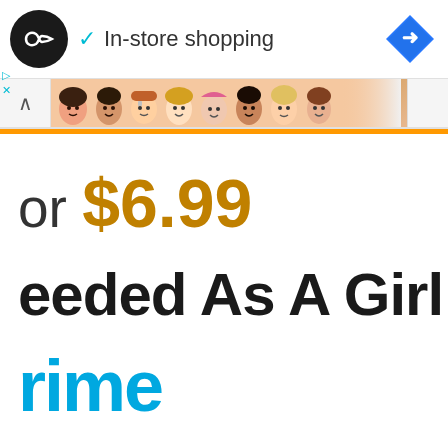[Figure (screenshot): App logo circle with infinity/loop symbol and 'In-store shopping' text with checkmark, and blue navigation diamond icon on the right]
[Figure (screenshot): Ad banner showing illustrated cartoon faces of diverse women/girls]
or $6.99
eeded As A Girl F
rime